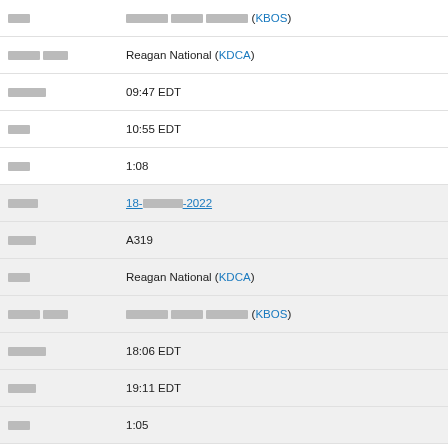| Field | Value |
| --- | --- |
| [redacted] | [redacted] [redacted] [redacted] (KBOS) |
| [redacted] [redacted] | Reagan National (KDCA) |
| [redacted] | 09:47 EDT |
| [redacted] | 10:55 EDT |
| [redacted] | 1:08 |
| [redacted] | 18-[redacted]-2022 |
| [redacted] | A319 |
| [redacted] | Reagan National (KDCA) |
| [redacted] [redacted] | [redacted] [redacted] [redacted] (KBOS) |
| [redacted] | 18:06 EDT |
| [redacted] | 19:11 EDT |
| [redacted] | 1:05 |
| [redacted] | 18-[redacted]-2022 |
| [redacted] | A319 |
| [redacted] | LaGuardia (KLGA) |
| [redacted] [redacted] | Reagan National (KDCA) |
| [redacted] | 15:09 EDT |
| [redacted] | 15:55 EDT |
| [redacted] | 0:45 |
| [redacted] | 18-[redacted]-2022 |